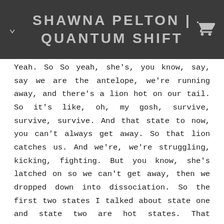SHAWNA PELTON | QUANTUM SHIFT
Yeah. So So yeah, she's, you know, say, say we are the antelope, we're running away, and there's a lion hot on our tail. So it's like, oh, my gosh, survive, survive, survive. And that state to now, you can't always get away. So that lion catches us. And we're, we're struggling, kicking, fighting. But you know, she's latched on so we can't get away, then we dropped down into dissociation. So the first two states I talked about state one and state two are hot states. That sympathetic nervous system states, dropping down into dissociation, we go into this. It's a state of hopelessness, there's no solution. We tried. Like, if only there had been a solution, if only we could have gotten… And so this is where maybe a bit of a floatiness or